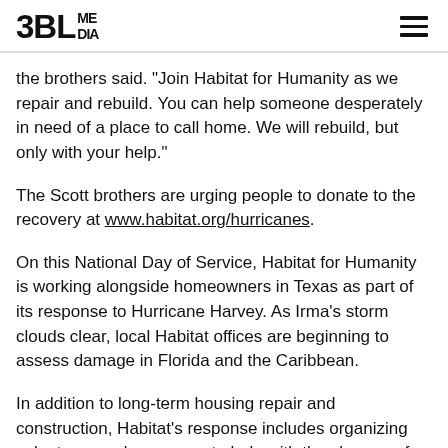3BL MEDIA
the brothers said. "Join Habitat for Humanity as we repair and rebuild. You can help someone desperately in need of a place to call home. We will rebuild, but only with your help."
The Scott brothers are urging people to donate to the recovery at www.habitat.org/hurricanes.
On this National Day of Service, Habitat for Humanity is working alongside homeowners in Texas as part of its response to Hurricane Harvey. As Irma’s storm clouds clear, local Habitat offices are beginning to assess damage in Florida and the Caribbean.
In addition to long-term housing repair and construction, Habitat's response includes organizing volunteers and resources to help with the cleanup of homes damaged by wind and flood waters. Construction plans will be